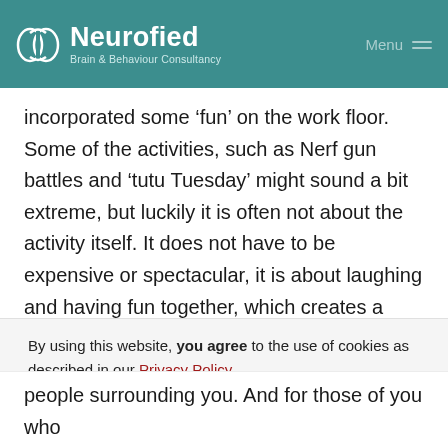Neurofied — Brain & Behaviour Consultancy | Menu
incorporated some ‘fun’ on the work floor. Some of the activities, such as Nerf gun battles and ‘tutu Tuesday’ might sound a bit extreme, but luckily it is often not about the activity itself. It does not have to be expensive or spectacular, it is about laughing and having fun together, which creates a bond
By using this website, you agree to the use of cookies as described in our Privacy Policy.
Ok
people surrounding you. And for those of you who